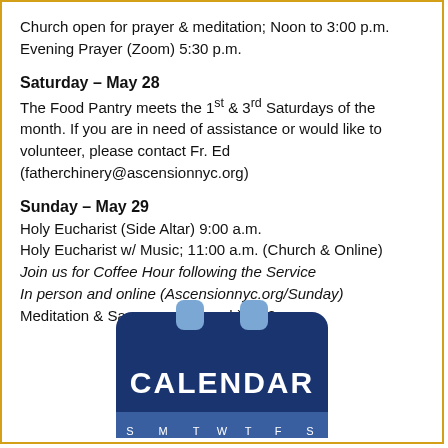Church open for prayer & meditation; Noon to 3:00 p.m.
Evening Prayer (Zoom) 5:30 p.m.
Saturday – May 28
The Food Pantry meets the 1st & 3rd Saturdays of the month. If you are in need of assistance or would like to volunteer, please contact Fr. Ed (fatherchinery@ascensionnyc.org)
Sunday – May 29
Holy Eucharist (Side Altar) 9:00 a.m.
Holy Eucharist w/ Music; 11:00 a.m. (Church & Online)
Join us for Coffee Hour following the Service
In person and online (Ascensionnyc.org/Sunday)
Meditation & Sacrament (Church) 6:00 p.m.
[Figure (illustration): A blue calendar icon with the word CALENDAR in white block letters and a row of day abbreviations S M T W T F S at the bottom.]